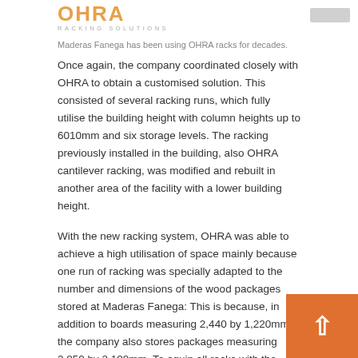OHRA RACKING SOLUTIONS
Maderas Fanega has been using OHRA racks for decades.
Once again, the company coordinated closely with OHRA to obtain a customised solution. This consisted of several racking runs, which fully utilise the building height with column heights up to 6010mm and six storage levels. The racking previously installed in the building, also OHRA cantilever racking, was modified and rebuilt in another area of the facility with a lower building height.
With the new racking system, OHRA was able to achieve a high utilisation of space mainly because one run of racking was specially adapted to the number and dimensions of the wood packages stored at Maderas Fanega: This is because, in addition to boards measuring 2,440 by 1,220mm, the company also stores packages measuring 2,850 by 2,100mm. To equip all racks with the longer cantilever arms would have taken up too much space, especially since the range of articles in these dimensions is limited. Therefore, OHRA